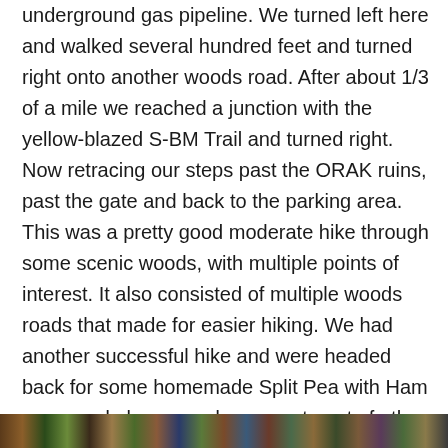underground gas pipeline. We turned left here and walked several hundred feet and turned right onto another woods road. After about 1/3 of a mile we reached a junction with the yellow-blazed S-BM Trail and turned right. Now retracing our steps past the ORAK ruins, past the gate and back to the parking area. This was a pretty good moderate hike through some scenic woods, with multiple points of interest. It also consisted of multiple woods roads that made for easier hiking. We had another successful hike and were headed back for some homemade Split Pea with Ham soup made by me and an assortment of other goodies to munch on. I hope that you enjoyed the hike and don't forget to follow my blog. I welcome your comments and/or any suggestions that you may have. Now get out there and take a hike!
[Figure (photo): A horizontal strip of outdoor/nature photos at the bottom of the page]